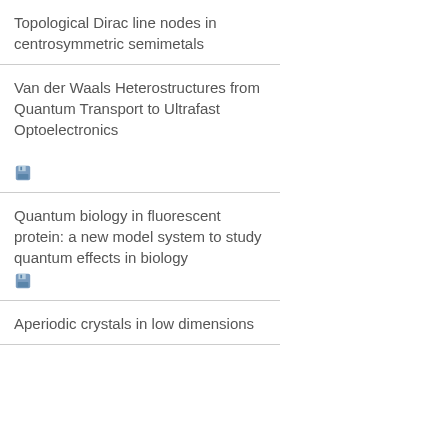Topological Dirac line nodes in centrosymmetric semimetals
Van der Waals Heterostructures from Quantum Transport to Ultrafast Optoelectronics
Quantum biology in fluorescent protein: a new model system to study quantum effects in biology
Aperiodic crystals in low dimensions